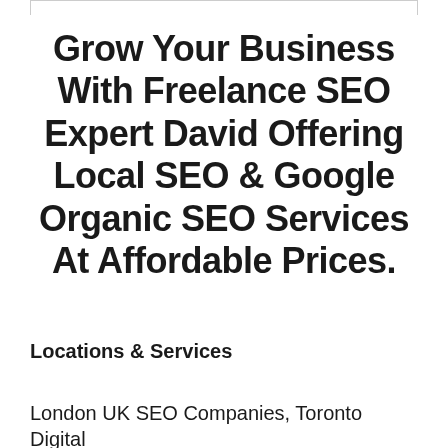Grow Your Business With Freelance SEO Expert David Offering Local SEO & Google Organic SEO Services At Affordable Prices.
Locations & Services
London UK SEO Companies, Toronto Digital